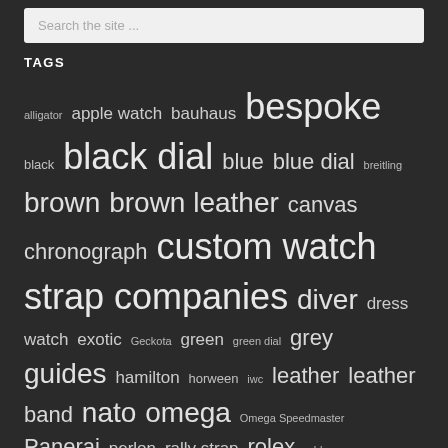Search the site ...
TAGS
alligator apple watch bauhaus bespoke black black dial blue blue dial breitling brown brown leather canvas chronograph custom watch strap companies diver dress watch exotic Geckota green green dial grey guides hamilton horween iwc leather leather band nato omega Omega Speedmaster Panerai perlon rally strap rolex rubber seiko Seiko diver Seiko SNK shop skx speedmaster thick timex tudor